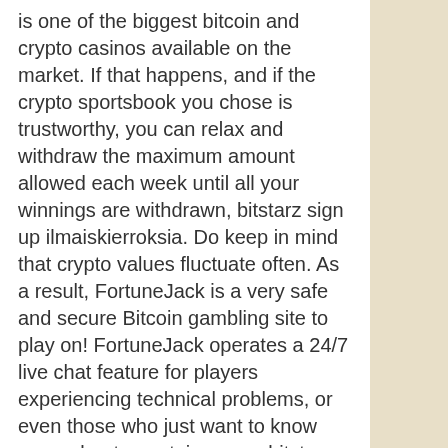is one of the biggest bitcoin and crypto casinos available on the market. If that happens, and if the crypto sportsbook you chose is trustworthy, you can relax and withdraw the maximum amount allowed each week until all your winnings are withdrawn, bitstarz sign up ilmaiskierroksia. Do keep in mind that crypto values fluctuate often. As a result, FortuneJack is a very safe and secure Bitcoin gambling site to play on! FortuneJack operates a 24/7 live chat feature for players experiencing technical problems, or even those who just want to know more about a certain game, bitstarz sign up tiradas gratis. Cryptocurrencies are not issued by banks or governments, thus making them immune to any manipulation or interference. Cryptocurrencies are systems that allow secure online payments, in the form of 'tokens', bitstarz sign up free spins. In that case, players from other jurisdictions are not